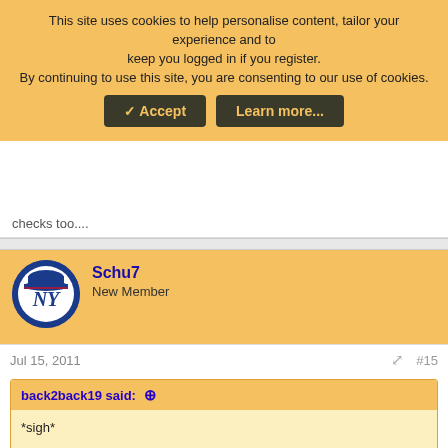This site uses cookies to help personalise content, tailor your experience and to keep you logged in if you register. By continuing to use this site, you are consenting to our use of cookies.
✓ Accept | Learn more...
checks too....
Schu7
New Member
Jul 15, 2011
#15
back2back19 said: ↑
*sigh*

Does Casey have a good chance at getting her convictions overturned on appeal?